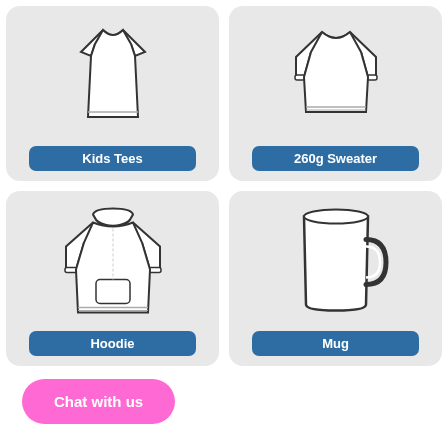[Figure (illustration): Kids Tees product card with line drawing of a child t-shirt and blue label button]
[Figure (illustration): 260g Sweater product card with line drawing of a sweater and blue label button]
[Figure (illustration): Hoodie product card with line drawing of a hoodie and blue label button]
[Figure (illustration): Mug product card with line drawing of a mug and blue label button]
Chat with us